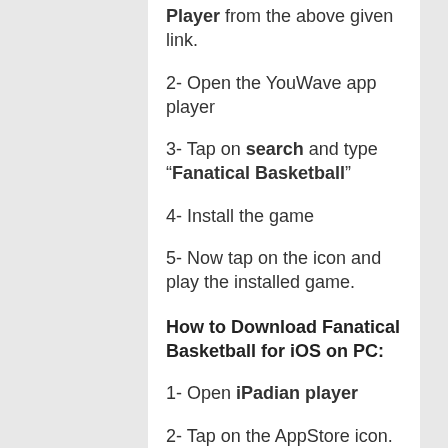Player from the above given link.
2- Open the YouWave app player
3- Tap on search and type “Fanatical Basketball”
4- Install the game
5- Now tap on the icon and play the installed game.
How to Download Fanatical Basketball for iOS on PC:
1- Open iPadian player
2- Tap on the AppStore icon.
3- Go to Search and type the